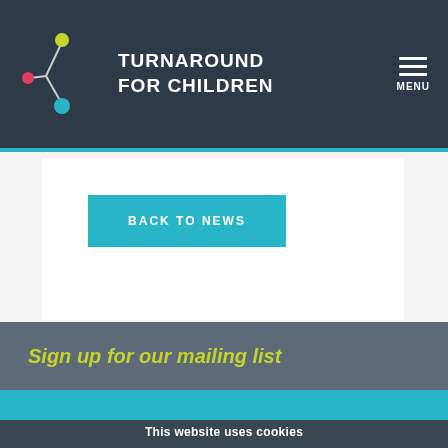[Figure (logo): Turnaround for Children logo — stylized node-and-line graphic with colored dots (yellow, red, teal) connected by lines, beside the text TURNAROUND FOR CHILDREN in white bold capitals]
TURNAROUND FOR CHILDREN
BACK TO NEWS
Sign up for our mailing list
This website uses cookies
We use functional and analytical cookies to improve site functionality and personalize your user experience. By clicking